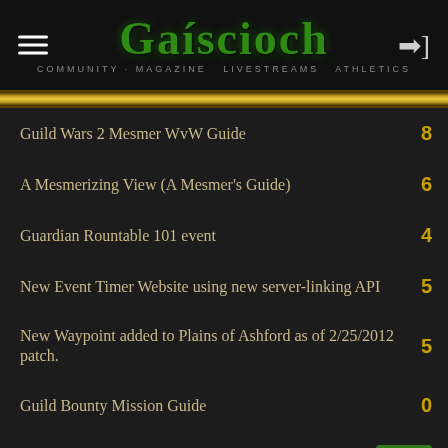Gaíscioch — COMMUNITY MAGAZINE LIVESTREAMS ATHLETICS
Guild Wars 2 Mesmer WvW Guide
A Mesmerizing View (A Mesmer's Guide)
Guardian Rountable 101 event
New Event Timer Website using new server-linking API
New Waypoint added to Plains of Ashford as of 2/25/2012 patch.
Guild Bounty Mission Guide
Guardians Consecrations Dual-Cast
Fast Dailies For Res>Dodge>Vet Killing